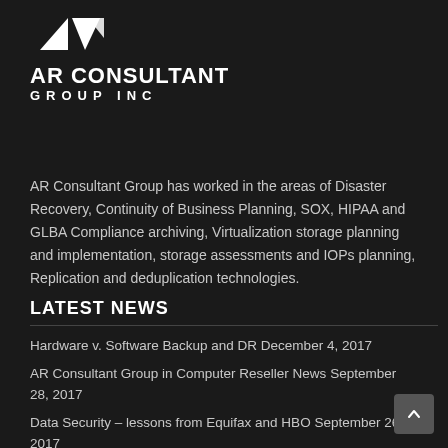[Figure (logo): AR Consultant Group Inc logo with white arrow shapes above the company name]
AR CONSULTANT GROUP INC
AR Consultant Group has worked in the areas of Disaster Recovery, Continuity of Business Planning, SOX, HIPAA and GLBA Compliance archiving, Virtualization storage planning and implementation, storage assessments and IOPs planning, Replication and deduplication technologies.
LATEST NEWS
Hardware v. Software Backup and DR December 4, 2017
AR Consultant Group in Computer Reseller News September 28, 2017
Data Security – lessons from Equifax and HBO September 26, 2017